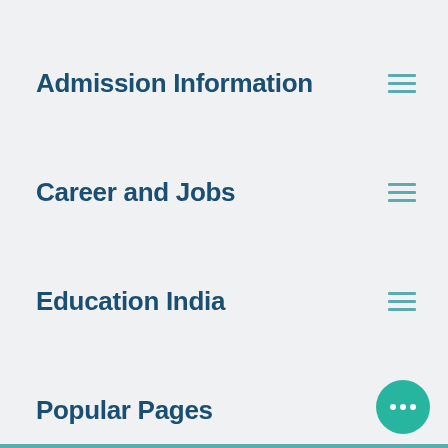Admission Information
Career and Jobs
Education India
Popular Pages